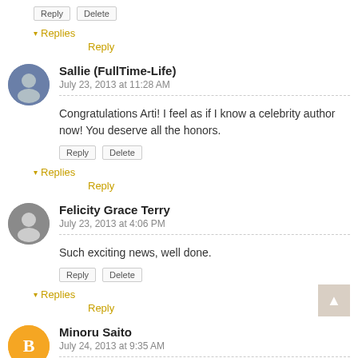Reply | Delete
▾ Replies
Reply
Sallie (FullTime-Life)
July 23, 2013 at 11:28 AM
Congratulations Arti! I feel as if I know a celebrity author now! You deserve all the honors.
Reply | Delete
▾ Replies
Reply
Felicity Grace Terry
July 23, 2013 at 4:06 PM
Such exciting news, well done.
Reply | Delete
▾ Replies
Reply
Minoru Saito
July 24, 2013 at 9:35 AM
HiiCongratulations